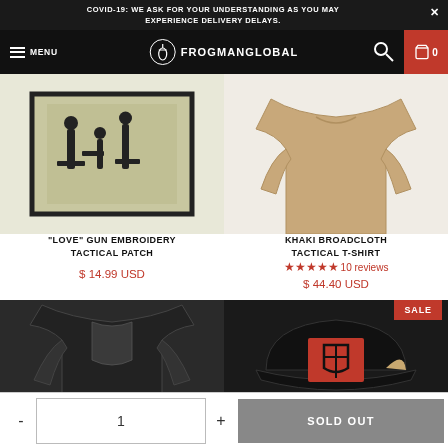COVID-19: WE ASK FOR YOUR UNDERSTANDING AS YOU MAY EXPERIENCE DELIVERY DELAYS.
MENU  FROGMANGLOBAL  0
[Figure (photo): "Love" Gun Embroidery Tactical Patch product image]
"LOVE" GUN EMBROIDERY TACTICAL PATCH
$ 14.99 USD
[Figure (photo): Khaki Broadcloth Tactical T-Shirt product image]
KHAKI BROADCLOTH TACTICAL T-SHIRT
★★★★★ 10 reviews
$ 44.40 USD
[Figure (photo): Dark tactical long-sleeve shirt product image]
[Figure (photo): Black and tan cap with red shield logo, SALE badge]
- 1 + SOLD OUT